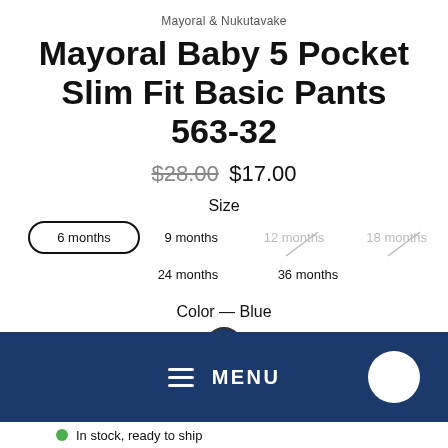Mayoral & Nukutavake
Mayoral Baby 5 Pocket Slim Fit Basic Pants 563-32
$28.00  $17.00
Size
6 months (selected)
9 months
12 months (unavailable)
18 months (unavailable)
24 months
36 months
Color — Blue
[Figure (illustration): Blue color swatch circle]
[Figure (screenshot): Dark blue navigation bar with hamburger menu icon, MENU text, and white chat bubble icon]
In stock, ready to ship